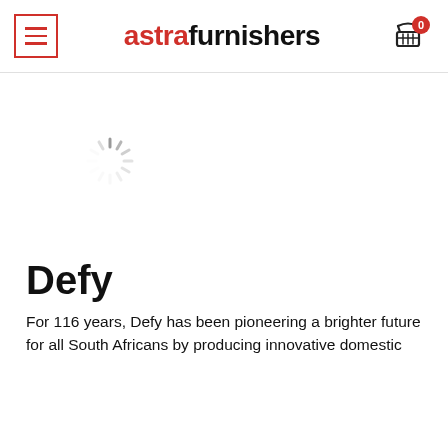[Figure (screenshot): Website header for Astra Furnishers with hamburger menu button (red border), logo 'astrafurnishers' in bold with 'astra' in red, and a shopping cart icon with badge showing 0]
[Figure (other): Loading spinner graphic — circular dashed spinner indicating content is loading]
Defy
For 116 years, Defy has been pioneering a brighter future for all South Africans by producing innovative domestic